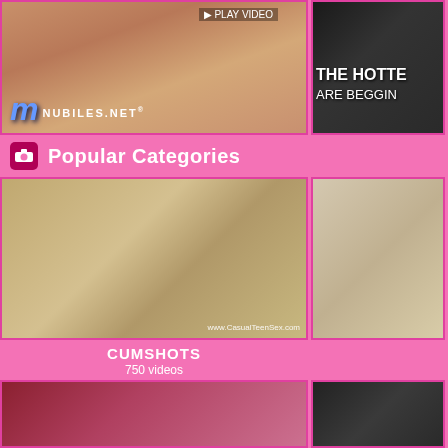[Figure (photo): Adult website banner - left: nubiles.net ad with logo, right: partial dark banner with text 'THE HOTTE... ARE BEGGIN...']
Popular Categories
[Figure (photo): Category thumbnail - left: two people in hotel room (CasualTeenSex.com watermark), right: man unbuckling belt]
CUMSHOTS
750 videos
[Figure (photo): Bottom row thumbnails - left: woman with dark red background, right: dark-haired woman]